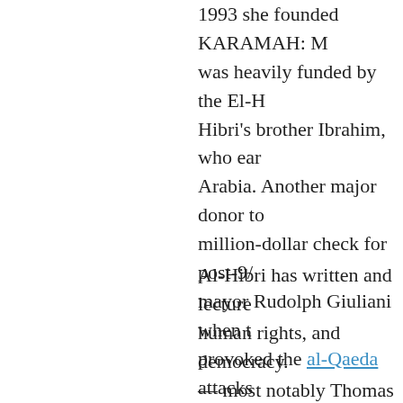1993 she founded KARAMAH: M was heavily funded by the El-H Hibri's brother Ibrahim, who ear Arabia. Another major donor to million-dollar check for post-9/ mayor Rudolph Giuliani when t provoked the al-Qaeda attacks
Al-Hibri has written and lecture human rights, and democracy. — most notably Thomas Jeffers sought to establish freedom of model of 1500 years ago"—spec coercion in religion."